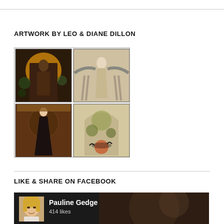ARTWORK BY LEO & DIANE DILLON
[Figure (illustration): A 2x2 grid of fantasy/art book cover illustrations by Leo & Diane Dillon. Top-left: a figure against a golden circular background. Top-right: a stylized figure with outstretched arms in art nouveau style. Bottom-left: a dark-robed female figure with ornate background and text. Bottom-right: an elaborate decorative arch with botanical/animal motifs.]
LIKE & SHARE ON FACEBOOK
[Figure (screenshot): Facebook page widget showing Pauline Gedge page with profile photo of a blonde woman, name 'Pauline Gedge', '414 likes', and decorative artwork background.]